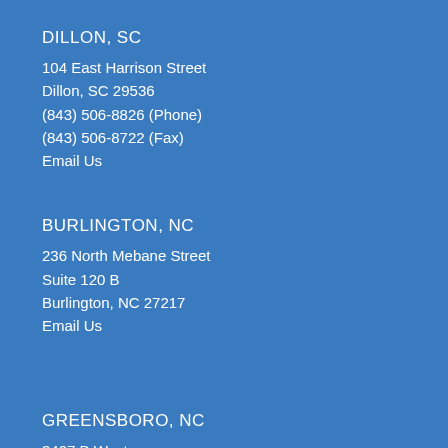DILLON, SC
104 East Harrison Street
Dillon, SC 29536
(843) 506-8826 (Phone)
(843) 506-8722 (Fax)
Email Us
BURLINGTON, NC
236 North Mebane Street
Suite 120 B
Burlington, NC 27217
Email Us
GREENSBORO, NC
3407 B West
Wendover Avenue
Greensboro, NC 27407